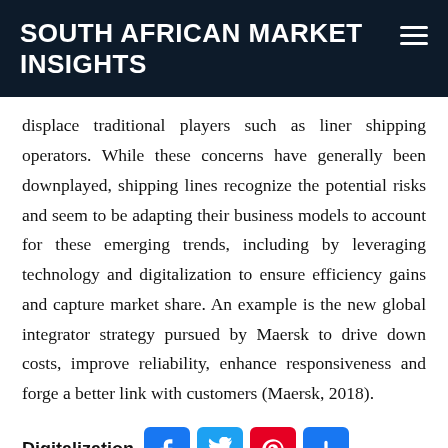SOUTH AFRICAN MARKET INSIGHTS
displace traditional players such as liner shipping operators. While these concerns have generally been downplayed, shipping lines recognize the potential risks and seem to be adapting their business models to account for these emerging trends, including by leveraging technology and digitalization to ensure efficiency gains and capture market share. An example is the new global integrator strategy pursued by Maersk to drive down costs, improve reliability, enhance responsiveness and forge a better link with customers (Maersk, 2018).
Digitalization
To be cont...